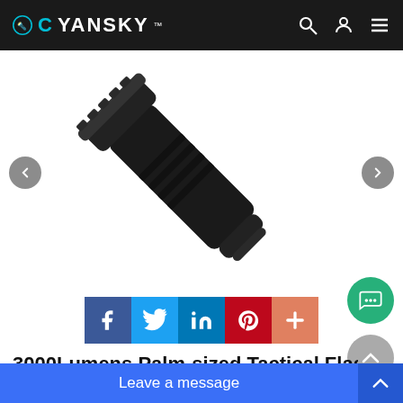CYANSKY™
[Figure (photo): A black tactical flashlight shown at a diagonal angle against a white background, with serrated bezel and textured grip]
[Figure (infographic): Social share buttons: Facebook, Twitter, LinkedIn, Pinterest, and a plus/more button]
3000Lumens Palm-sized Tactical Flashlight
Item No : R25